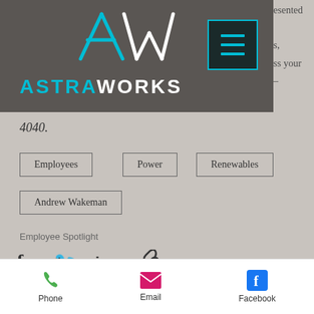[Figure (logo): AstraWorks logo with AW monogram in teal on dark grey background, with hamburger menu button in dark teal border]
esented
s,
ss your
–
4040.
Employees
Power
Renewables
Andrew Wakeman
Employee Spotlight
[Figure (infographic): Social share icons: Facebook, Twitter, LinkedIn, link]
88
[Figure (infographic): Bottom navigation bar with Phone (green), Email (pink), Facebook (blue) icons]